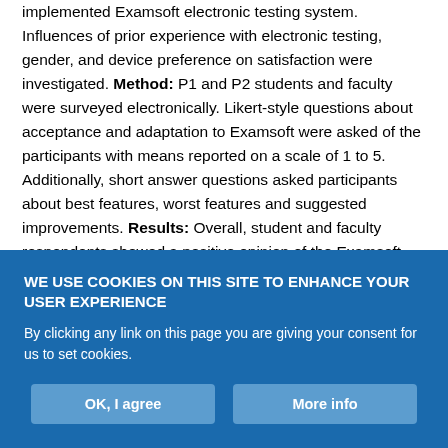implemented Examsoft electronic testing system. Influences of prior experience with electronic testing, gender, and device preference on satisfaction were investigated. Method: P1 and P2 students and faculty were surveyed electronically. Likert-style questions about acceptance and adaptation to Examsoft were asked of the participants with means reported on a scale of 1 to 5. Additionally, short answer questions asked participants about best features, worst features and suggested improvements. Results: Overall, student and faculty respondents showed a positive opinion of the Examsoft electronic testing system; however, students were more reserved in their acceptance. Respondents who most commonly used an iPad
WE USE COOKIES ON THIS SITE TO ENHANCE YOUR USER EXPERIENCE
By clicking any link on this page you are giving your consent for us to set cookies.